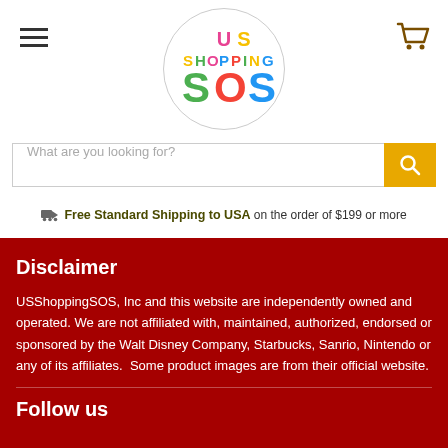[Figure (logo): US Shopping SOS logo — colorful letters in a circle]
What are you looking for?
Free Standard Shipping to USA on the order of $199 or more
Disclaimer
USShoppingSOS, Inc and this website are independently owned and operated. We are not affiliated with, maintained, authorized, endorsed or sponsored by the Walt Disney Company, Starbucks, Sanrio, Nintendo or any of its affiliates.  Some product images are from their official website.
Follow us